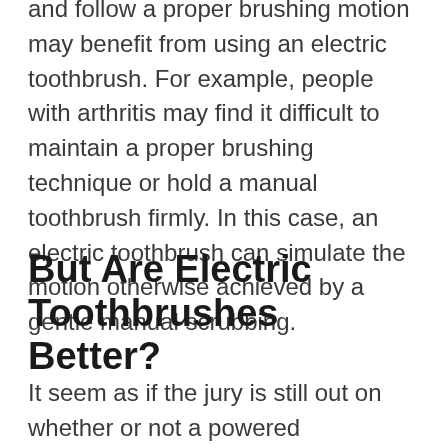and follow a proper brushing motion may benefit from using an electric toothbrush. For example, people with arthritis may find it difficult to maintain a proper brushing technique or hold a manual toothbrush firmly. In this case, an electric toothbrush can simulate the motion otherwise achieved by a gentle manual scrubbing.
But Are Electric Toothbrushes Better?
It seem as if the jury is still out on whether or not a powered toothbrush actually cleans better. However, several